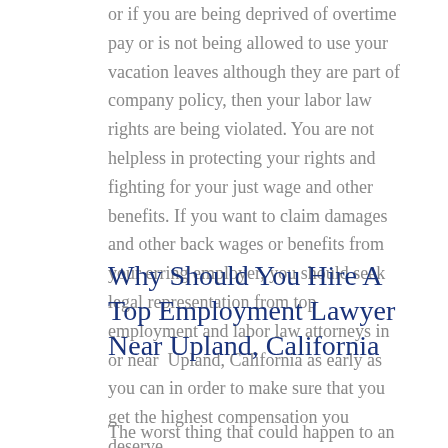or if you are being deprived of overtime pay or is not being allowed to use your vacation leaves although they are part of company policy, then your labor law rights are being violated. You are not helpless in protecting your rights and fighting for your just wage and other benefits. If you want to claim damages and other back wages or benefits from your erring employer, you should seek legal representation from top employment and labor law attorneys in or near Upland, California as early as you can in order to make sure that you get the highest compensation you deserve.
Why Should You Hire A Top Employment Lawyer Near Upland, California
The worst thing that could happen to an employee is